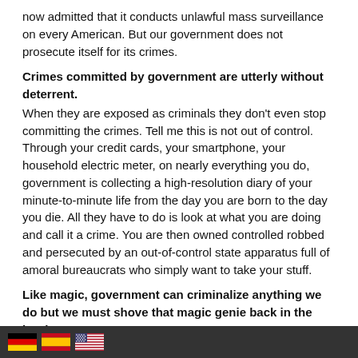now admitted that it conducts unlawful mass surveillance on every American. But our government does not prosecute itself for its crimes.
Crimes committed by government are utterly without deterrent.
When they are exposed as criminals they don't even stop committing the crimes. Tell me this is not out of control. Through your credit cards, your smartphone, your household electric meter, on nearly everything you do, government is collecting a high-resolution diary of your minute-to-minute life from the day you are born to the day you die. All they have to do is look at what you are doing and call it a crime. You are then owned controlled robbed and persecuted by an out-of-control state apparatus full of amoral bureaucrats who simply want to take your stuff.
Like magic, government can criminalize anything we do but we must shove that magic genie back in the bottle.
W...
🇩🇪 🇪🇸 🇺🇸